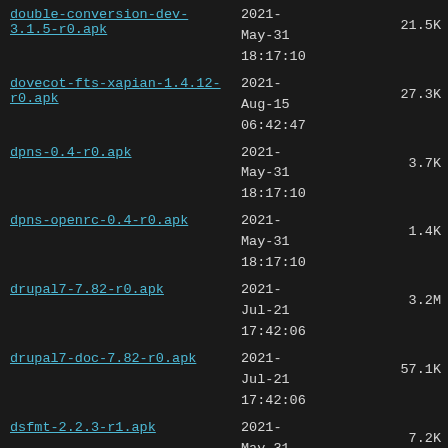double-conversion-dev-3.1.5-r0.apk	2021-May-31 18:17:10	21.5K
dovecot-fts-xapian-1.4.12-r0.apk	2021-Aug-15 06:42:47	27.3K
dpns-0.4-r0.apk	2021-May-31 18:17:10	3.7K
dpns-openrc-0.4-r0.apk	2021-May-31 18:17:10	1.4K
drupal7-7.82-r0.apk	2021-Jul-21 17:42:06	3.2M
drupal7-doc-7.82-r0.apk	2021-Jul-21 17:42:06	57.1K
dsfmt-2.2.3-r1.apk	2021-May-31 18:17:10	7.2K